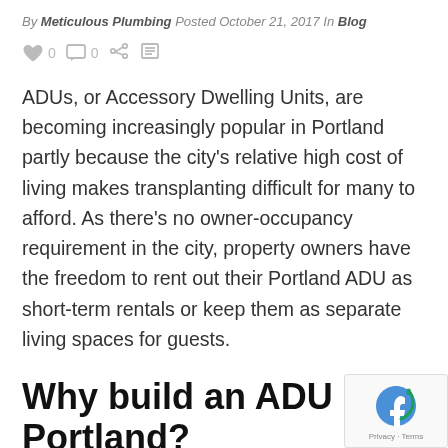By Meticulous Plumbing Posted October 21, 2017 In Blog
♥ 0   □ 0   < ≡
ADUs, or Accessory Dwelling Units, are becoming increasingly popular in Portland partly because the city's relative high cost of living makes transplanting difficult for many to afford. As there's no owner-occupancy requirement in the city, property owners have the freedom to rent out their Portland ADU as short-term rentals or keep them as separate living spaces for guests.
Why build an ADU in Portland?